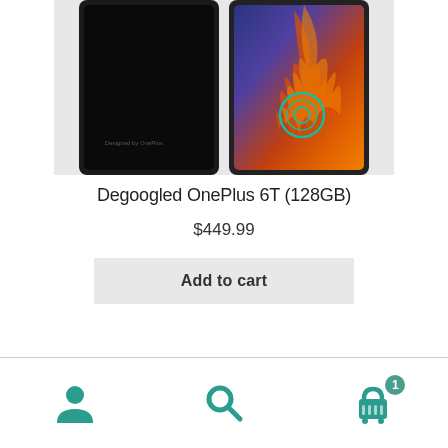[Figure (photo): Two OnePlus 6T smartphones side by side — left one shows a dark/black screen, right one shows a colorful abstract wallpaper with a fingerprint sensor icon on the display]
Degoogled OnePlus 6T (128GB)
$449.99
Add to cart